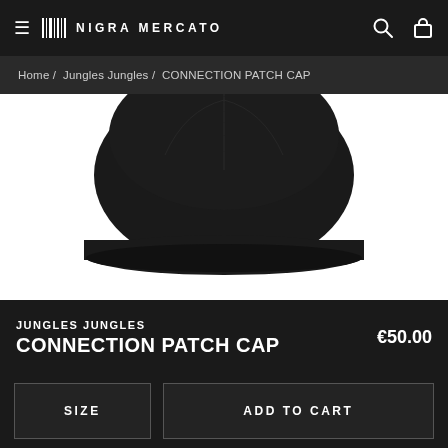NIGRA MERCATO
Home / Jungles Jungles / CONNECTION PATCH CAP
[Figure (photo): Product photo of a black baseball cap (CONNECTION PATCH CAP by Jungles Jungles), showing the top and brim of the cap against a white background]
JUNGLES JUNGLES
CONNECTION PATCH CAP
€50.00
SIZE
ADD TO CART